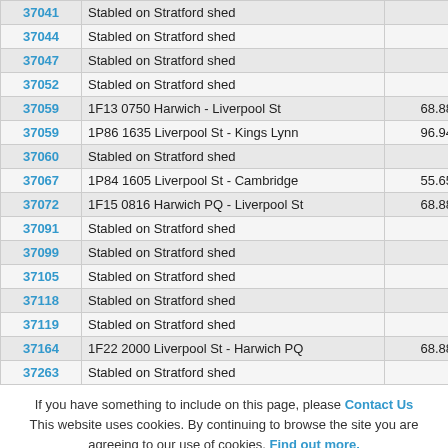|  | Loco | Description | Miles |
| --- | --- | --- | --- |
|  | 37041 | Stabled on Stratford shed |  |
|  | 37044 | Stabled on Stratford shed |  |
|  | 37047 | Stabled on Stratford shed |  |
|  | 37052 | Stabled on Stratford shed |  |
|  | 37059 | 1F13 0750 Harwich - Liverpool St | 68.88 |
|  | 37059 | 1P86 1635 Liverpool St - Kings Lynn | 96.94 |
|  | 37060 | Stabled on Stratford shed |  |
|  | 37067 | 1P84 1605 Liverpool St - Cambridge | 55.65 |
|  | 37072 | 1F15 0816 Harwich PQ - Liverpool St | 68.88 |
|  | 37091 | Stabled on Stratford shed |  |
|  | 37099 | Stabled on Stratford shed |  |
|  | 37105 | Stabled on Stratford shed |  |
|  | 37118 | Stabled on Stratford shed |  |
|  | 37119 | Stabled on Stratford shed |  |
|  | 37164 | 1F22 2000 Liverpool St - Harwich PQ | 68.88 |
|  | 37263 | Stabled on Stratford shed |  |
If you have something to include on this page, please Contact Us This website uses cookies. By continuing to browse the site you are agreeing to our use of cookies. Find out more.
© Mick Parker / Class37.co.uk - 1997 - 2022